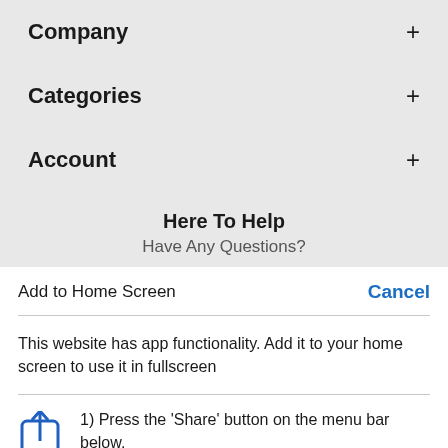Company +
Categories +
Account +
Here To Help
Have Any Questions?
Add to Home Screen   Cancel
This website has app functionality. Add it to your home screen to use it in fullscreen
1) Press the 'Share' button on the menu bar below.
2) Press 'Add to Home Screen'.